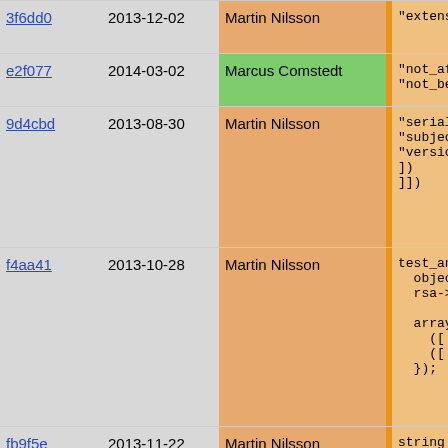| hash | date | author | code |
| --- | --- | --- | --- |
| 3f6dd0 | 2013-12-02 | Martin Nilsson | "extensi |
| e2f077 | 2014-03-02 | Marcus Comstedt | "not_aft
"not_bef |
| 9d4cbd | 2013-08-30 | Martin Nilsson | "serial"
"subject
"version
])
]]) |
| f4aa41 | 2013-10-28 | Martin Nilsson | test_any_e
  object r
  rsa->set

  array at
    ([ "or
    ([ "co
  }); |
| fb9f5e | 2013-11-22 | Martin Nilsson | string c |
| f4aa41 | 2013-10-28 | Martin Nilsson | object t
return (
]],[[( [
  "version
  "serial" |
| fb9f5e | 2013-11-22 | Martin Nilsson | "algorit |